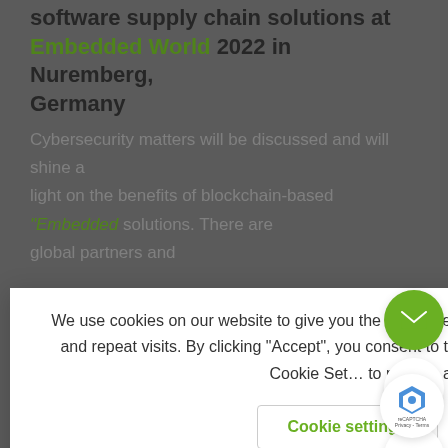software supply chain solutions at Embedded World 2022 in Nuremberg, Germany
Cybersecurity matters will be discussed...
We use cookies on our website to give you the most relevant experience by remembering your preferences and repeat visits. By clicking “Accept”, you consent to the use of ALL the cookies. However you may visit Cookie Settings to provide a controlled consent.
At the asvin booth, the technical implementation will be demonstrated using a practical example. This illustrates the individual stages of the software supply